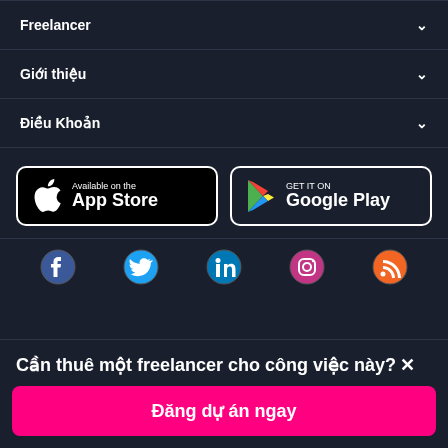Freelancer
Giới thiệu
Điều Khoản
[Figure (screenshot): App Store and Google Play store badges side by side]
[Figure (infographic): Social media icons row: Facebook, Twitter/X, LinkedIn, Instagram, RSS]
Cần thuê một freelancer cho công việc này?
Đăng dự án ngay